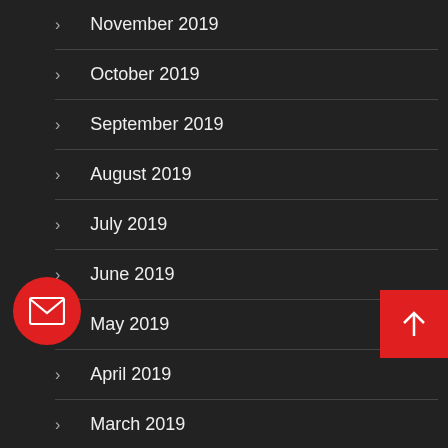November 2019
October 2019
September 2019
August 2019
July 2019
June 2019
May 2019
April 2019
March 2019
February 2019
January 2019
[Figure (illustration): Red circular email button with envelope icon on the left side]
[Figure (illustration): Red square scroll-to-top button with upward arrow on the right side]